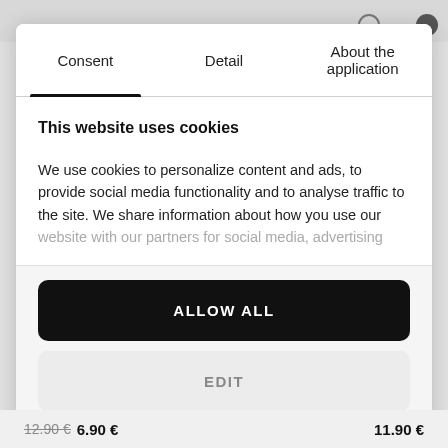Consent | Detail | About the application
This website uses cookies
We use cookies to personalize content and ads, to provide social media functionality and to analyse traffic to the site. We share information about how you use our website with our partners for social media, advertising
ALLOW ALL
EDIT
12.90 € 6.90 €   11.90 €